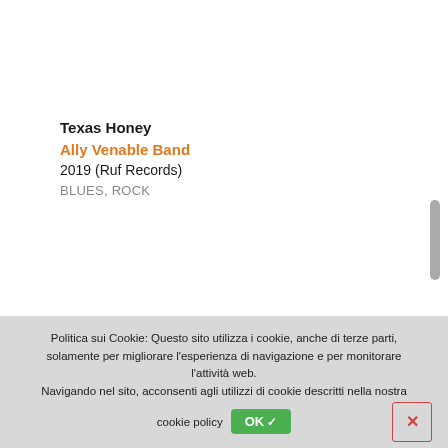Texas Honey
Ally Venable Band
2019 (Ruf Records)
BLUES, ROCK
Politica sui Cookie: Questo sito utilizza i cookie, anche di terze parti, solamente per migliorare l'esperienza di navigazione e per monitorare l'attività web. Navigando nel sito, acconsenti agli utilizzi di cookie descritti nella nostra cookie policy OK✓